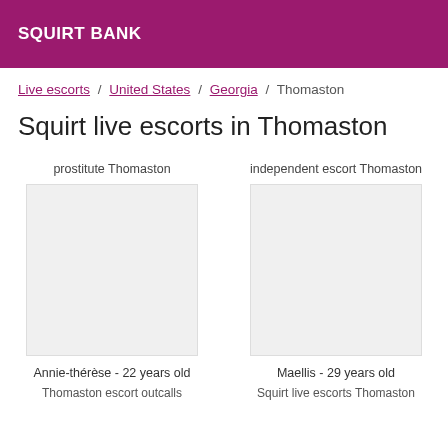SQUIRT BANK
Live escorts / United States / Georgia / Thomaston
Squirt live escorts in Thomaston
prostitute Thomaston
independent escort Thomaston
[Figure (photo): Escort listing photo placeholder - Annie-thérèse]
[Figure (photo): Escort listing photo placeholder - Maellis]
Annie-thérèse - 22 years old
Maellis - 29 years old
Thomaston escort outcalls
Squirt live escorts Thomaston